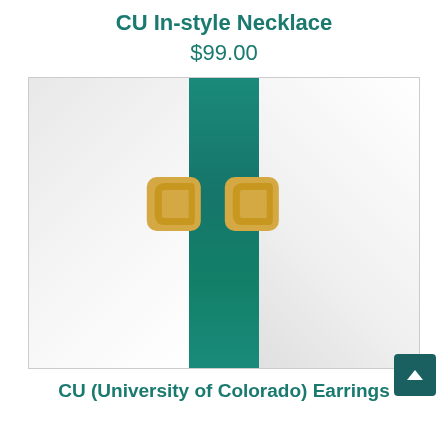CU In-style Necklace
$99.00
[Figure (photo): Two gold CU (University of Colorado) logo earrings displayed on a white fabric surface with a teal ribbon running vertically through the center]
CU (University of Colorado) Earrings